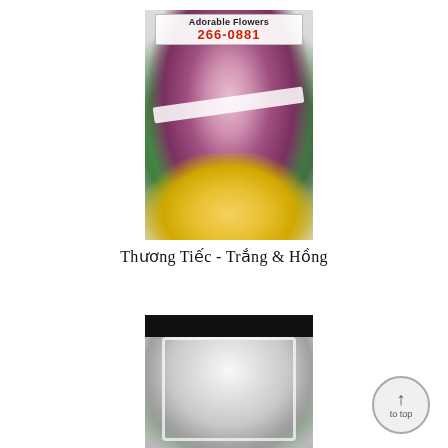[Figure (photo): A floral funeral/sympathy wreath stand decorated with pink, white, red, and purple flowers and green foliage, displayed in front of a shop with a sign reading 'Adorable Flowers' and phone number '266-0881'. Yellow flower motif visible on the backdrop.]
Thương Tiếc - Trắng & Hồng
[Figure (photo): Partial view of another floral sympathy wreath with white and purple flowers arranged in a diamond/triangular shape with white lace border, photographed against a dark background.]